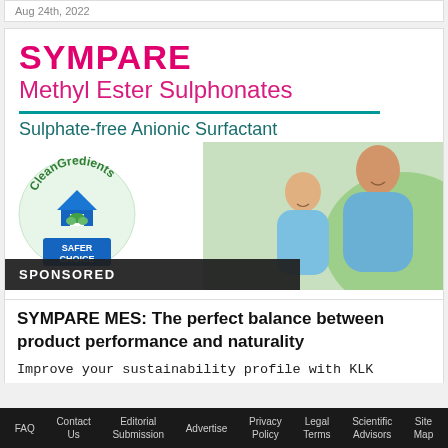Aug 24th, 2022
[Figure (illustration): SYMPARE Methyl Ester Sulphonates advertisement banner. Shows 'SYMPARE' in bold pink/magenta, 'Methyl Ester Sulphonates' in pink below, a teal horizontal rule, 'Sulphate-free Anionic Surfactant' in teal, CleanGredients Safer Choice logo badge on left, and a photo of two women (mother and daughter) smiling on the right.]
SPONSORED
SYMPARE MES: The perfect balance between product performance and naturality
Improve your sustainability profile with KLK
FAQ   Contact Us   Editorial Submission   Advertise   Privacy Policy   Legal Terms   Scientific Advisors   Site Map